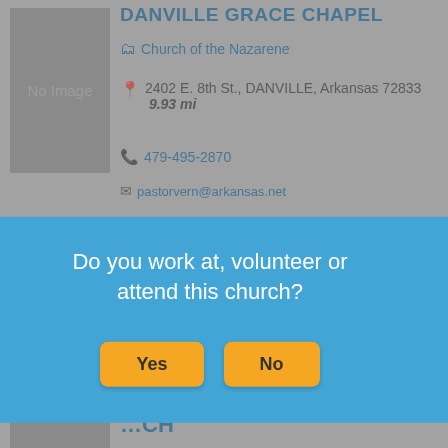DANVILLE GRACE CHAPEL
Church of the Nazarene
2402 E. 8th St., DANVILLE, Arkansas 72833  9.93 mi
479-495-2870
pastorvern@arkansas.net
[Figure (screenshot): Partial second church listing with 'No Image' placeholder and partial address ending in 2851, distance 11.45 mi, phone 501-938-7566]
Do you work at, volunteer or attend this church?
Yes
No
PARIS FIRST UNITED METHODIST CHURCH
Methodist